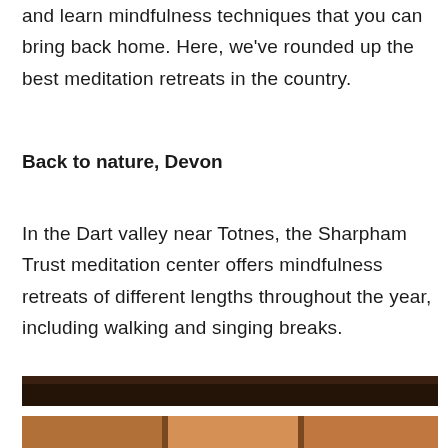and learn mindfulness techniques that you can bring back home. Here, we've rounded up the best meditation retreats in the country.
Back to nature, Devon
In the Dart valley near Totnes, the Sharpham Trust meditation center offers mindfulness retreats of different lengths throughout the year, including walking and singing breaks.
[Figure (photo): Top portion of an indoor photo, showing dark wooden beams or ceiling]
[Figure (photo): Bottom strip of an outdoor or nature photo with warm earthy tones]